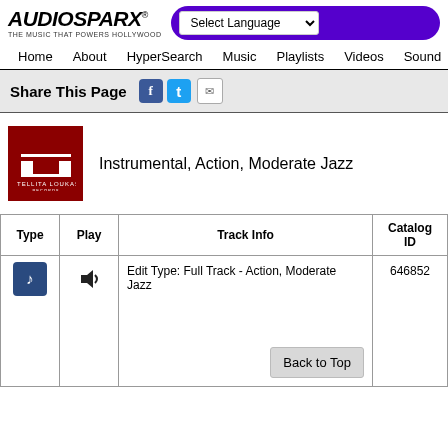AUDIOSPARX - THE MUSIC THAT POWERS HOLLYWOOD
Select Language | Home | About | HyperSearch | Music | Playlists | Videos | Sound
Share This Page
[Figure (logo): Stellita Loukas Records album art - dark red background with SL logo]
Instrumental, Action, Moderate Jazz
| Type | Play | Track Info | Catalog ID |
| --- | --- | --- | --- |
| [music icon] | [speaker icon] | Edit Type: Full Track - Action, Moderate Jazz | 646852 |
Back to Top